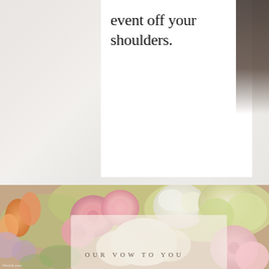event off your shoulders.
[Figure (photo): Close-up photo of a lush floral arrangement featuring pink roses, white hydrangeas, yellow-green flowers, and orange tulips.]
OUR VOW TO YOU